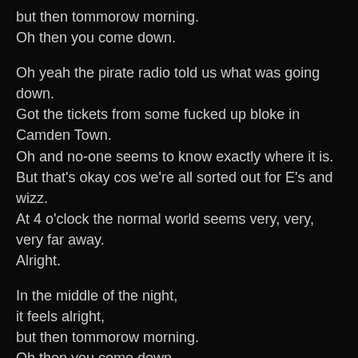but then tommorow morning.
Oh then you come down.
Oh yeah the pirate radio told us what was going down.
Got the tickets from some fucked up bloke in Camden Town.
Oh and no-one seems to know exactly where it is.
But that's okay cos we're all sorted out for E's and wizz.
At 4 o'clock the normal world seems very, very, very far away.
Alright.
In the middle of the night,
it feels alright,
but then tommorow morning.
Oh then you come down.
Just keep on moving.